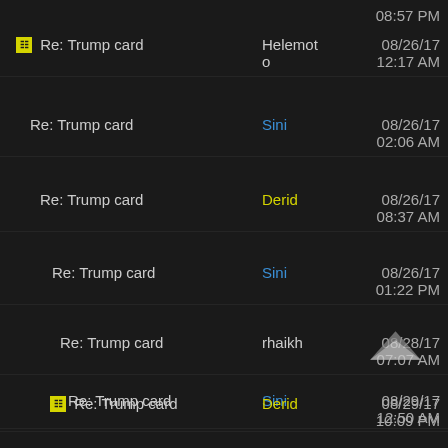08:57 PM
Re: Trump card | Helemoto | 08/26/17 12:17 AM
Re: Trump card | Sini | 08/26/17 02:06 AM
Re: Trump card | Derid | 08/26/17 08:37 AM
Re: Trump card | Sini | 08/26/17 01:22 PM
Re: Trump card | rhaikh | 08/28/17 07:07 AM
Re: Trump card | Sini | 08/29/17 12:50 AM
Re: Trump card | Derid | 08/29/17 10:09 PM